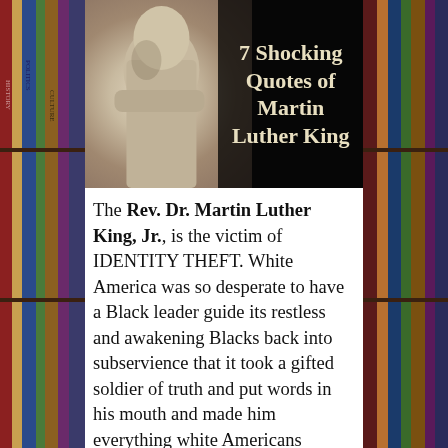[Figure (photo): A photo composite showing a stone sculpture of Martin Luther King Jr. on the left half against a dark/black background, with bold text on the right side reading '7 Shocking Quotes of Martin Luther King' in a serif font on a dark background.]
The Rev. Dr. Martin Luther King, Jr., is the victim of IDENTITY THEFT. White America was so desperate to have a Black leader guide its restless and awakening Blacks back into subservience that it took a gifted soldier of truth and put words in his mouth and made him everything white Americans wanted him to be. Let us FINALLY look at who Dr. King actually is. Dr. King evolved into a strategic thinker and planner—and a razor-sharp critic of white supremacy. He did not mince words: his speeches were a clear and [continues]